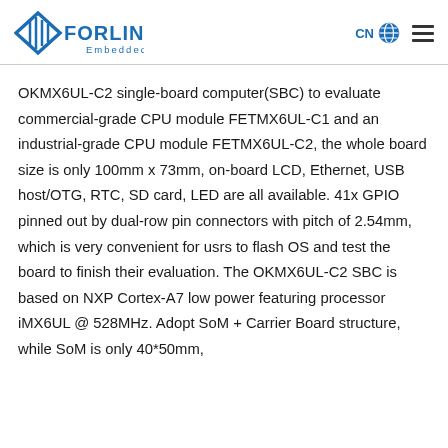FORLINX Embedded — CN [globe icon] [menu icon]
OKMX6UL-C2 single-board computer(SBC) to evaluate commercial-grade CPU module FETMX6UL-C1 and an industrial-grade CPU module FETMX6UL-C2, the whole board size is only 100mm x 73mm, on-board LCD, Ethernet, USB host/OTG, RTC, SD card, LED are all available. 41x GPIO pinned out by dual-row pin connectors with pitch of 2.54mm, which is very convenient for usrs to flash OS and test the board to finish their evaluation. The OKMX6UL-C2 SBC is based on NXP Cortex-A7 low power featuring processor iMX6UL @ 528MHz. Adopt SoM + Carrier Board structure, while SoM is only 40*50mm,